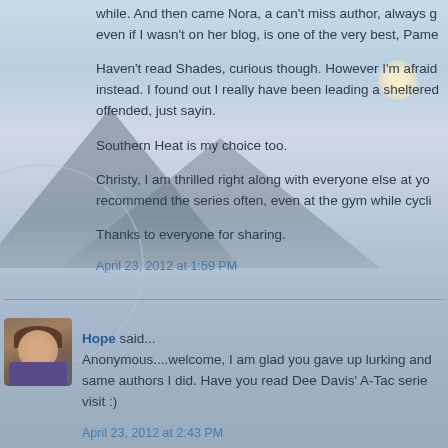while. And then came Nora, a can't miss author, always g even if I wasn't on her blog, is one of the very best, Pame
Haven't read Shades, curious though. However I'm afraid instead. I found out I really have been leading a sheltered offended, just sayin.
Southern Heat is my choice too.
Christy, I am thrilled right along with everyone else at yo recommend the series often, even at the gym while cycli
Thanks to everyone for sharing.
April 23, 2012 at 1:59 PM
Hope said...
Anonymous....welcome, I am glad you gave up lurking and same authors I did. Have you read Dee Davis' A-Tac serie visit :)
April 23, 2012 at 2:43 PM